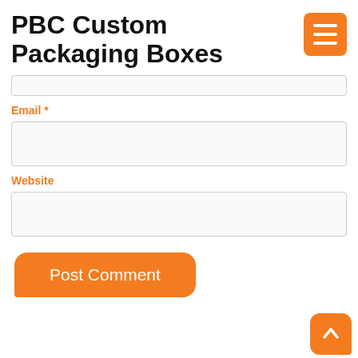PBC Custom Packaging Boxes
Email *
Website
Post Comment